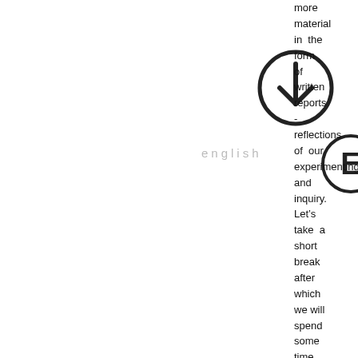[Figure (illustration): A circular icon with a downward-pointing arrow made of two angled lines forming a V shape, enclosed in a circle with a thick border.]
english
[Figure (illustration): A circle with a thick border containing the letter E in a bold serif-style font.]
more material in the form of written reports - reflections of our experimenting and inquiry. Let's take a short break after which we will spend some time with questions, then we'll try going on "the floorboards."